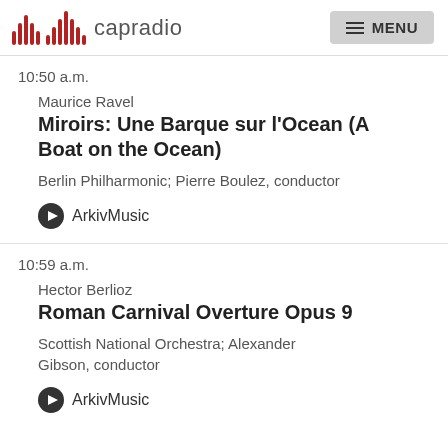capradio  MENU
10:50 a.m.
Maurice Ravel
Miroirs: Une Barque sur l'Ocean (A Boat on the Ocean)
Berlin Philharmonic; Pierre Boulez, conductor
ArkivMusic
10:59 a.m.
Hector Berlioz
Roman Carnival Overture Opus 9
Scottish National Orchestra; Alexander Gibson, conductor
ArkivMusic